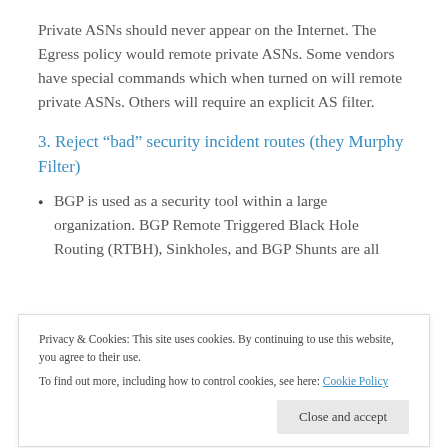Private ASNs should never appear on the Internet. The Egress policy would remote private ASNs. Some vendors have special commands which when turned on will remote private ASNs. Others will require an explicit AS filter.
3. Reject “bad” security incident routes (they Murphy Filter)
BGP is used as a security tool within a large organization. BGP Remote Triggered Black Hole Routing (RTBH), Sinkholes, and BGP Shunts are all
Privacy & Cookies: This site uses cookies. By continuing to use this website, you agree to their use.
To find out more, including how to control cookies, see here: Cookie Policy
The f... “R l i t d Hi h I t T t f (hi i id t